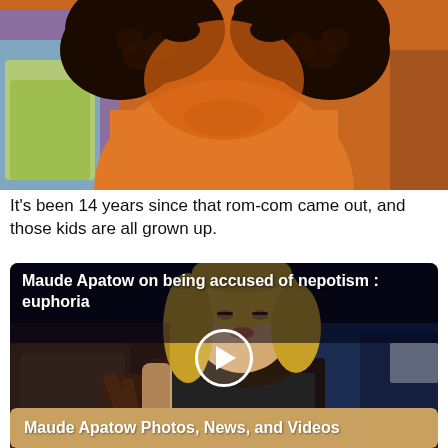[Figure (photo): Close-up photo showing two people from shoulders up – one wearing an orange top with curly dark hair, another partially visible in colorful dress]
It's been 14 years since that rom-com came out, and those kids are all grown up.
[Figure (screenshot): Video thumbnail showing a blonde woman in black leather dress on a dark talk-show set, with white overlay title 'Maude Apatow on being accused of nepotism : euphoria' and a play button in the center]
Margaret is wearing a Giambattista Valli dress.
Maude Apatow Photos, News, and Videos